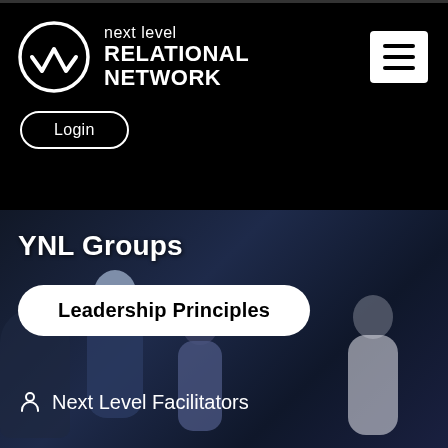[Figure (logo): Next Level Relational Network logo — circular emblem with stylized W/checkmark in white on black, beside text 'next level RELATIONAL NETWORK' in white on black background with hamburger menu icon and Login button]
[Figure (photo): Dark-toned photo of a group of people gathered together, one person with silver/white hair bowing head, others around; dark blue-black background]
YNL Groups
Leadership Principles
Next Level Facilitators